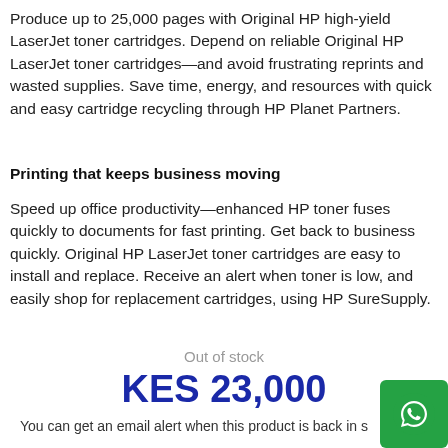Produce up to 25,000 pages with Original HP high-yield LaserJet toner cartridges. Depend on reliable Original HP LaserJet toner cartridges—and avoid frustrating reprints and wasted supplies. Save time, energy, and resources with quick and easy cartridge recycling through HP Planet Partners.
Printing that keeps business moving
Speed up office productivity—enhanced HP toner fuses quickly to documents for fast printing. Get back to business quickly. Original HP LaserJet toner cartridges are easy to install and replace. Receive an alert when toner is low, and easily shop for replacement cartridges, using HP SureSupply.
Out of stock
KES 23,000
You can get an email alert when this product is back in s